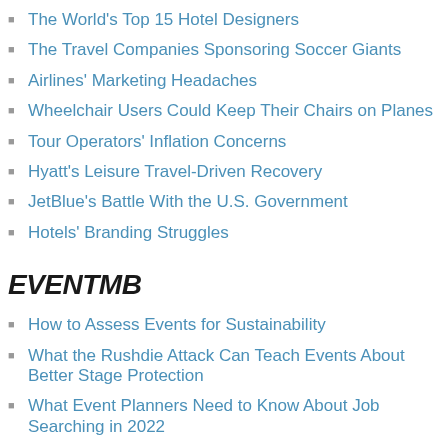The World's Top 15 Hotel Designers
The Travel Companies Sponsoring Soccer Giants
Airlines' Marketing Headaches
Wheelchair Users Could Keep Their Chairs on Planes
Tour Operators' Inflation Concerns
Hyatt's Leisure Travel-Driven Recovery
JetBlue's Battle With the U.S. Government
Hotels' Branding Struggles
EVENTMB
How to Assess Events for Sustainability
What the Rushdie Attack Can Teach Events About Better Stage Protection
What Event Planners Need to Know About Job Searching in 2022
Events Industry Still Playing Catch-Up to Upskill Its Workforce
The Challenges of Systemizing Event Planning